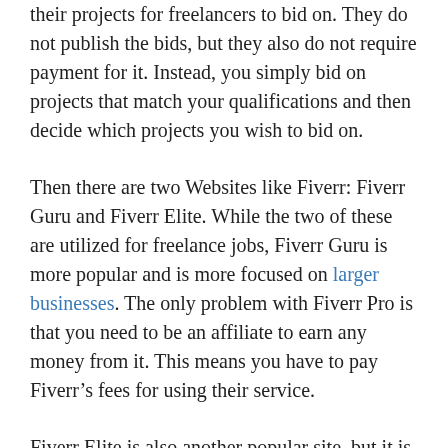their projects for freelancers to bid on. They do not publish the bids, but they also do not require payment for it. Instead, you simply bid on projects that match your qualifications and then decide which projects you wish to bid on.
Then there are two Websites like Fiverr: Fiverr Guru and Fiverr Elite. While the two of these are utilized for freelance jobs, Fiverr Guru is more popular and is more focused on larger businesses. The only problem with Fiverr Pro is that you need to be an affiliate to earn any money from it. This means you have to pay Fiverr's fees for using their service.
Fiverr Elite is also another popular site, but it is much more concentrated on freelancing. This is because they also provide large numbers of jobs